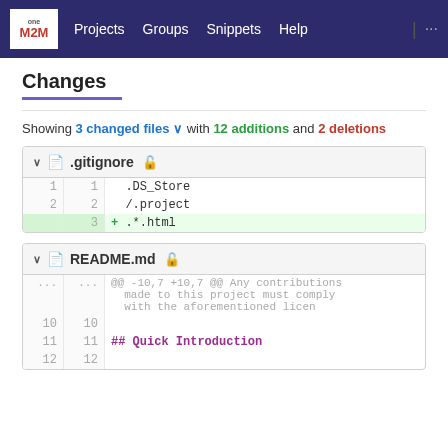oneM2M | Projects  Groups  Snippets  Help  ...
Changes
Showing 3 changed files with 12 additions and 2 deletions
| .gitignore |
| --- |
| 1 | 1 | .DS_Store |
| 2 | 2 | /.project |
|  | 3 | + .*.html |
| README.md |
| --- |
| ... | ... | @@ -10,7 +10,7 @@ Any contributions made to this project must comply with the aforementioned licen |
| 10 | 10 |  |
| 11 | 11 | ## Quick Introduction |
| 12 | 12 |  |